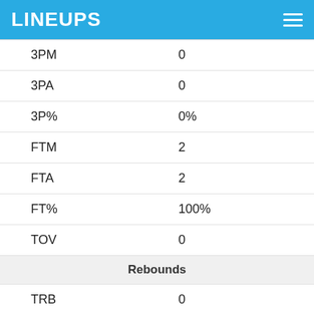LINEUPS
| Stat | Value |
| --- | --- |
| 3PM | 0 |
| 3PA | 0 |
| 3P% | 0% |
| FTM | 2 |
| FTA | 2 |
| FT% | 100% |
| TOV | 0 |
| Rebounds |  |
| TRB | 0 |
| ORB | 0 |
| DRB | 0 |
| Defense |  |